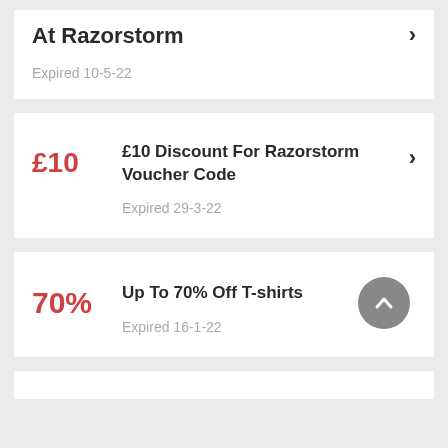At Razorstorm
Expired 10-5-22
£10 Discount For Razorstorm Voucher Code
Expired 29-3-22
70% Up To 70% Off T-shirts
Expired 16-1-22